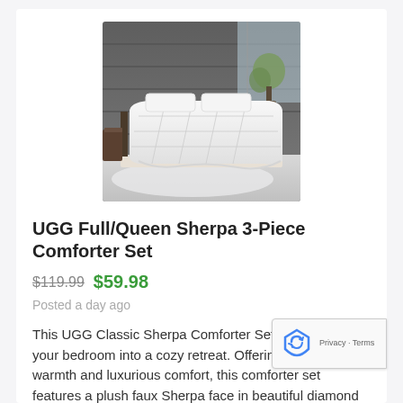[Figure (photo): Photo of a white UGG Sherpa comforter set displayed on a bed in a modern bedroom with grey wood-paneled wall and a plant in the background.]
UGG Full/Queen Sherpa 3-Piece Comforter Set
$119.99 $59.98
Posted a day ago
This UGG Classic Sherpa Comforter Set will transform your bedroom into a cozy retreat. Offering exceptional warmth and luxurious comfort, this comforter set features a plush faux Sherpa face in beautiful diamond pattern pillow cover and sham